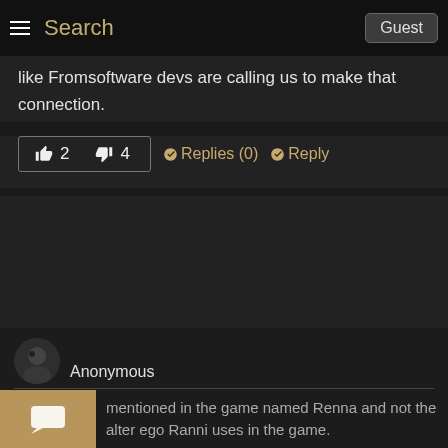Search | Guest
like Fromsoftware devs are calling us to make that connection.
👍 2   👎 4   ➜Replies (0)   ➜Reply
Anonymous
04 Jul 2022 22:56
This page should be about the actual character mentioned in the game named Renna and not the alter ego Ranni uses in the game.